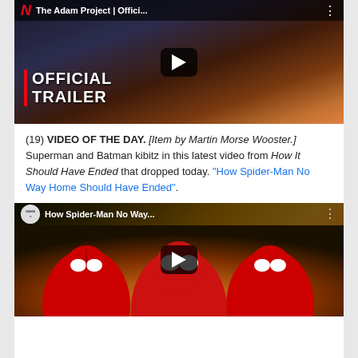[Figure (screenshot): YouTube thumbnail for 'The Adam Project | Offici...' Netflix trailer with OFFICIAL TRAILER text and play button]
(19) VIDEO OF THE DAY. [Item by Martin Morse Wooster.] Superman and Batman kibitz in this latest video from How It Should Have Ended that dropped today. "How Spider-Man No Way Home Should Have Ended".
[Figure (screenshot): YouTube thumbnail for 'How Spider-Man No Way...' HISHE video showing three Spider-Man characters with play button]